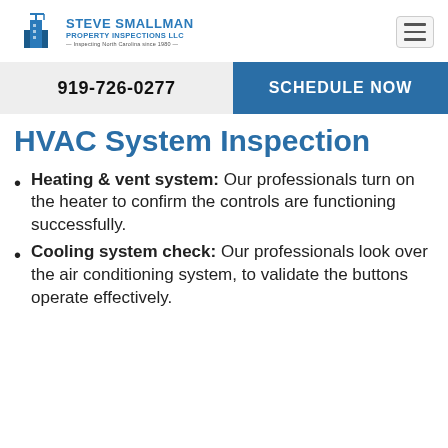Steve Smallman Property Inspections LLC — Inspecting North Carolina since 1980
919-726-0277
SCHEDULE NOW
HVAC System Inspection
Heating & vent system: Our professionals turn on the heater to confirm the controls are functioning successfully.
Cooling system check: Our professionals look over the air conditioning system, to validate the buttons operate effectively.